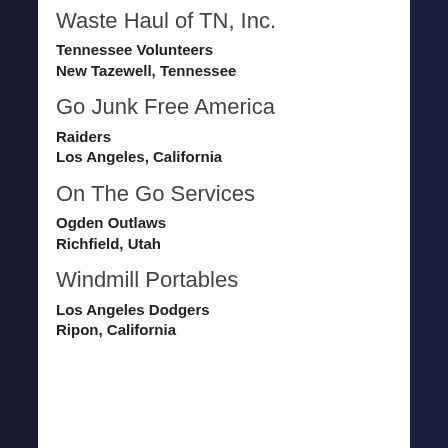Waste Haul of TN, Inc.
Tennessee Volunteers
New Tazewell, Tennessee
Go Junk Free America
Raiders
Los Angeles, California
On The Go Services
Ogden Outlaws
Richfield, Utah
Windmill Portables
Los Angeles Dodgers
Ripon, California